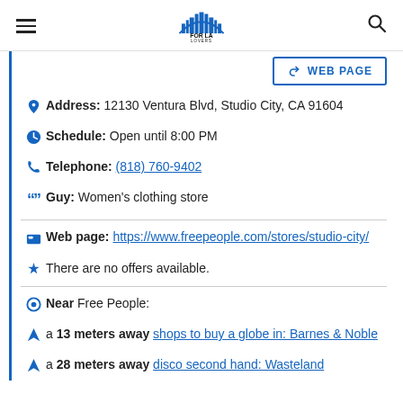FOR LA LOVERS (logo with hamburger menu and search icon)
WEB PAGE (button)
Address: 12130 Ventura Blvd, Studio City, CA 91604
Schedule: Open until 8:00 PM
Telephone: (818) 760-9402
Guy: Women's clothing store
Web page: https://www.freepeople.com/stores/studio-city/
There are no offers available.
Near Free People:
a 13 meters away shops to buy a globe in: Barnes & Noble
a 28 meters away disco second hand: Wasteland